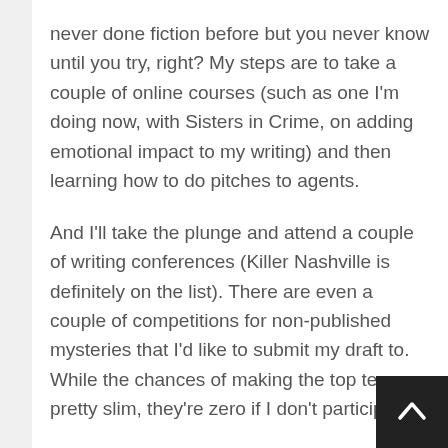never done fiction before but you never know until you try, right? My steps are to take a couple of online courses (such as one I'm doing now, with Sisters in Crime, on adding emotional impact to my writing) and then learning how to do pitches to agents.
And I'll take the plunge and attend a couple of writing conferences (Killer Nashville is definitely on the list). There are even a couple of competitions for non-published mysteries that I'd like to submit my draft to. While the chances of making the top ten are pretty slim, they're zero if I don't participate.
As Mary said, above, success is depend... upon our willingness to risk failure. Because